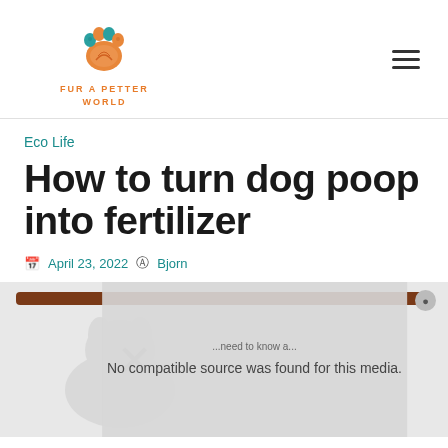[Figure (logo): Fur a Petter World logo — a colorful paw print with teal/orange colors and text 'FUR A PETTER WORLD' below in orange uppercase letters]
Eco Life
How to turn dog poop into fertilizer
April 23, 2022  @  Bjorn
[Figure (screenshot): Video player overlay showing 'No compatible source was found for this media.' with a close button and X dismiss icon, overlaid on a faint image of a dog]